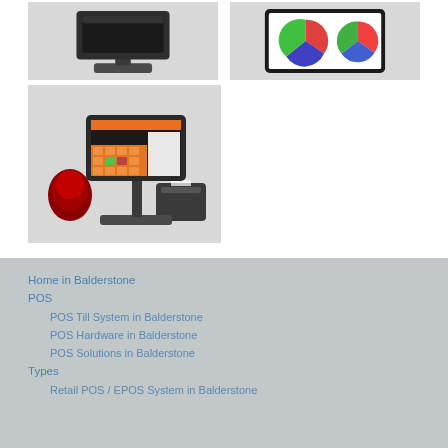[Figure (photo): POS terminal/monitor standalone unit on stand, dark charcoal color, on grey background]
[Figure (photo): Tablet/POS device showing pie chart analytics on screen, on grey background]
[Figure (photo): Full POS till system with touchscreen showing colorful POS software, barcode scanner, and receipt printer on grey background]
Home in Balderstone
POS
POS Till System in Balderstone
POS Hardware in Balderstone
POS Solutions in Balderstone
Types
Retail POS / EPOS System in Balderstone